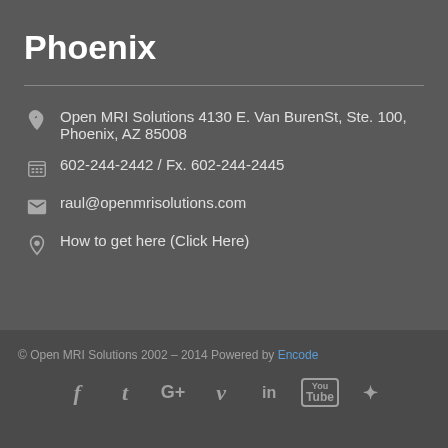Phoenix
Open MRI Solutions 4130 E. Van BurenSt, Ste. 100, Phoenix, AZ 85008
602-244-2442 / Fx. 602-244-2445
raul@openmrisolutions.com
How to get here (Click Here)
© Open MRI Solutions 2002 – 2014 Powered by Encode